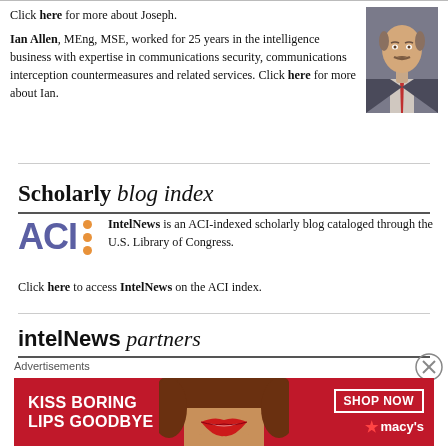Click here for more about Joseph.
[Figure (photo): Headshot of Ian Allen, middle-aged bald man with mustache in suit and tie]
Ian Allen, MEng, MSE, worked for 25 years in the intelligence business with expertise in communications security, communications interception countermeasures and related services. Click here for more about Ian.
Scholarly blog index
[Figure (logo): ACI logo - purple bold letters ACI with three orange dots to the right]
IntelNews is an ACI-indexed scholarly blog cataloged through the U.S. Library of Congress. Click here to access IntelNews on the ACI index.
intelNews partners
Advertisements
[Figure (photo): Macy's advertisement banner: red background, woman's face with red lips, text KISS BORING LIPS GOODBYE, SHOP NOW button, Macy's star logo]